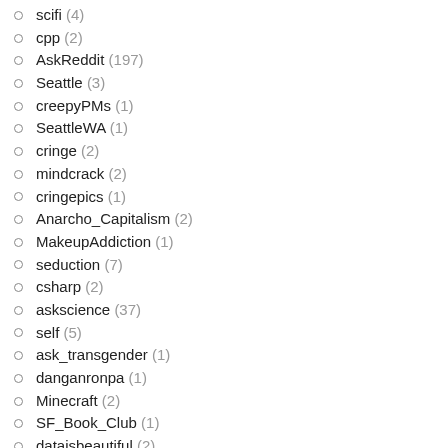scifi (4)
cpp (2)
AskReddit (197)
Seattle (3)
creepyPMs (1)
SeattleWA (1)
cringe (2)
mindcrack (2)
cringepics (1)
Anarcho_Capitalism (2)
MakeupAddiction (1)
seduction (7)
csharp (2)
askscience (37)
self (5)
ask_transgender (1)
danganronpa (1)
Minecraft (2)
SF_Book_Club (1)
dataisbeautiful (2)
androiddev (1)
manga (1)